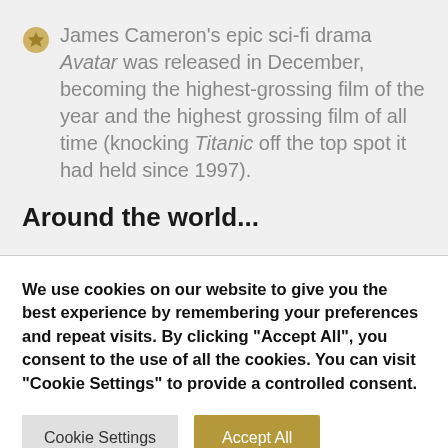James Cameron's epic sci-fi drama Avatar was released in December, becoming the highest-grossing film of the year and the highest grossing film of all time (knocking Titanic off the top spot it had held since 1997).
Around the world...
We use cookies on our website to give you the best experience by remembering your preferences and repeat visits. By clicking "Accept All", you consent to the use of all the cookies. You can visit "Cookie Settings" to provide a controlled consent.